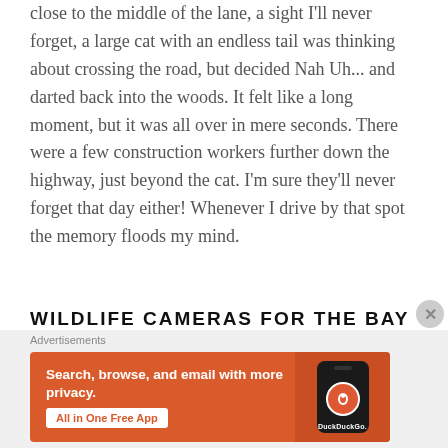close to the middle of the lane, a sight I'll never forget, a large cat with an endless tail was thinking about crossing the road, but decided Nah Uh... and darted back into the woods. It felt like a long moment, but it was all over in mere seconds. There were a few construction workers further down the highway, just beyond the cat. I'm sure they'll never forget that day either! Whenever I drive by that spot the memory floods my mind.
WILDLIFE CAMERAS FOR THE BAY AREA
[Figure (other): DuckDuckGo advertisement banner: orange background with white text 'Search, browse, and email with more privacy.' and 'All in One Free App' CTA button, alongside a phone mockup with DuckDuckGo logo]